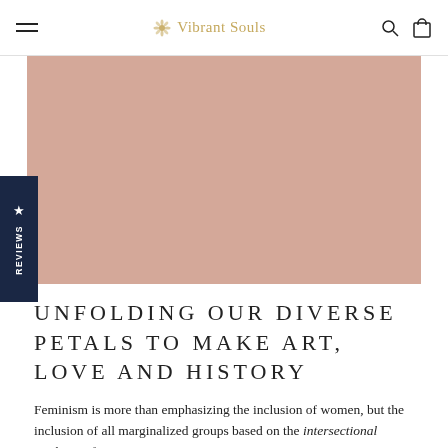Vibrant Souls
[Figure (photo): Large salmon/mauve colored rectangular hero image placeholder]
UNFOLDING OUR DIVERSE PETALS TO MAKE ART, LOVE AND HISTORY
Feminism is more than emphasizing the inclusion of women, but the inclusion of all marginalized groups based on the intersectional qualities of...